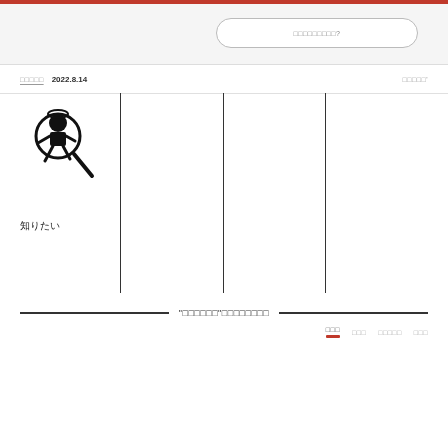Search/navigation UI with red top bar and search input
□□□□□  2022.8.14
□□□□□'
[Figure (illustration): Black silhouette illustration of a figure holding a magnifying glass, with a circular head/halo. Label below reads 知りたい (want to know)]
"□□□□□□"□□□□□□□□
□□□  □□□  □□□□□  □□□